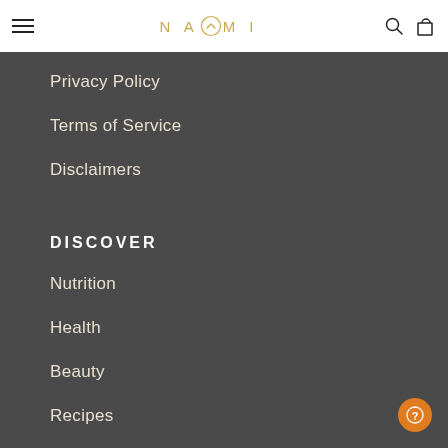NAOMI
Privacy Policy
Terms of Service
Disclaimers
DISCOVER
Nutrition
Health
Beauty
Recipes
Subscribe & Save